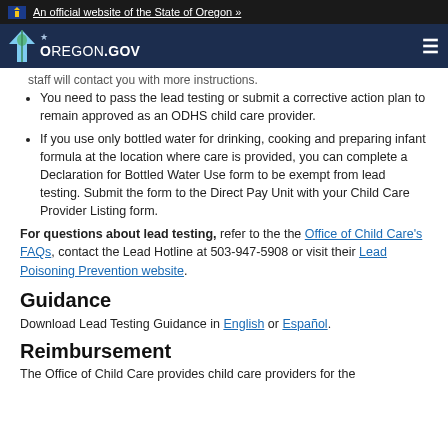An official website of the State of Oregon »
Oregon.gov
staff will contact you with more instructions.
You need to pass the lead testing or submit a corrective action plan to remain approved as an ODHS child care provider.
If you use only bottled water for drinking, cooking and preparing infant formula at the location where care is provided, you can complete a Declaration for Bottled Water Use form to be exempt from lead testing. Submit the form to the Direct Pay Unit with your Child Care Provider Listing form.
For questions about lead testing, refer to the the Office of Child Care's FAQs, contact the Lead Hotline at 503-947-5908 or visit their Lead Poisoning Prevention website.
Guidance
Download Lead Testing Guidance in English or Español.
Reimbursement
The Office of Child Care provides child care providers for the...